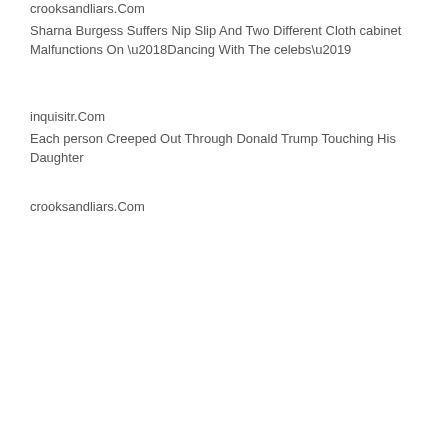crooksandliars.Com
Sharna Burgess Suffers Nip Slip And Two Different Cloth cabinet Malfunctions On ‘Dancing With The celebs’
inquisitr.Com
Each person Creeped Out Through Donald Trump Touching His Daughter
crooksandliars.Com